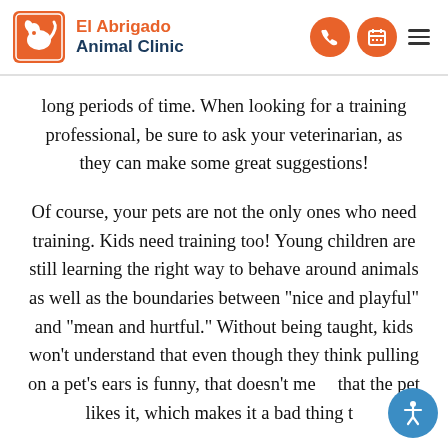[Figure (logo): El Abrigado Animal Clinic logo with orange square containing pet silhouette, orange and navy text]
long periods of time. When looking for a training professional, be sure to ask your veterinarian, as they can make some great suggestions!
Of course, your pets are not the only ones who need training. Kids need training too! Young children are still learning the right way to behave around animals as well as the boundaries between "nice and playful" and "mean and hurtful." Without being taught, kids won't understand that even though they think pulling on a pet's ears is funny, that doesn't mean that the pet likes it, which makes it a bad thing to